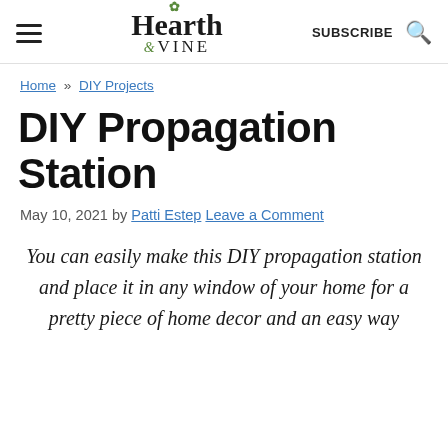Hearth & Vine — SUBSCRIBE [search]
Home » DIY Projects
DIY Propagation Station
May 10, 2021 by Patti Estep Leave a Comment
You can easily make this DIY propagation station and place it in any window of your home for a pretty piece of home decor and an easy way